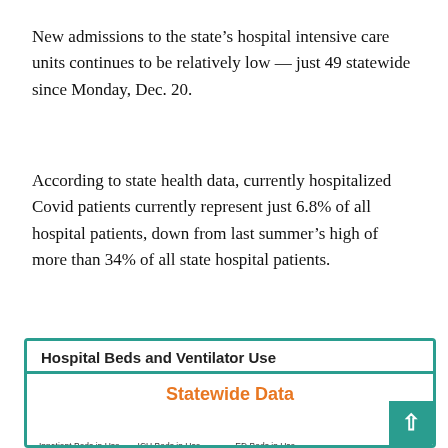New admissions to the state’s hospital intensive care units continues to be relatively low — just 49 statewide since Monday, Dec. 20.
According to state health data, currently hospitalized Covid patients currently represent just 6.8% of all hospital patients, down from last summer’s high of more than 34% of all state hospital patients.
[Figure (infographic): Hospital Beds and Ventilator Use infographic showing Statewide Data. Inpatient Beds in Use: 12,308 (80.7% of capacity). ICU Beds in Use: 2,252 (79.5% of capacity). ED Beds in Use: 2,470 (69.9% of capacity). Adult Ventilators in Use: 1,103 (27.7% of capacity).]